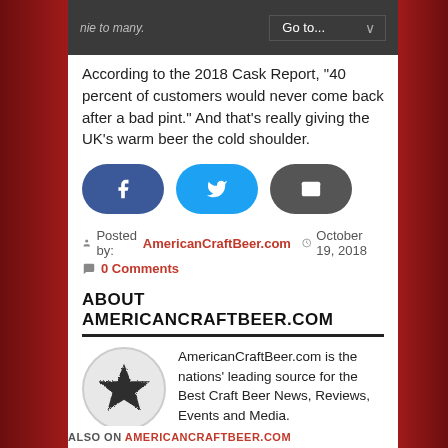Go to...
According to the 2018 Cask Report, "40 percent of customers would never come back after a bad pint." And that's really giving the UK's warm beer the cold shoulder.
[Figure (infographic): Three share buttons: Facebook (blue rounded), Twitter (cyan rounded), Email (dark grey rounded)]
Posted by: AmericanCraftBeer.com   October 19, 2018
0 Comments
ABOUT AMERICANCRAFTBEER.COM
[Figure (logo): AmericanCraftBeer.com logo: black distressed star in a grey circle]
AmericanCraftBeer.com is the nations' leading source for the Best Craft Beer News, Reviews, Events and Media.
[Figure (infographic): Social media icons row: Twitter, Facebook, Google+, YouTube, Pinterest]
ALSO ON AMERICANCRAFTBEER.COM